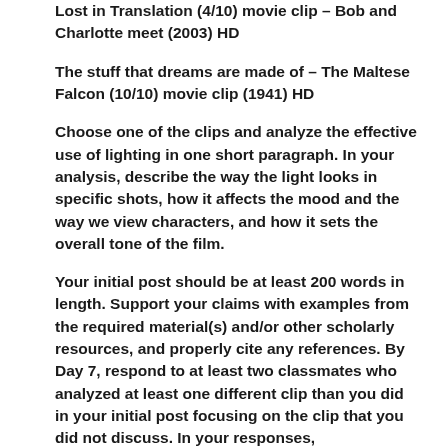Lost in Translation (4/10) movie clip – Bob and Charlotte meet (2003) HD
The stuff that dreams are made of – The Maltese Falcon (10/10) movie clip (1941) HD
Choose one of the clips and analyze the effective use of lighting in one short paragraph. In your analysis, describe the way the light looks in specific shots, how it affects the mood and the way we view characters, and how it sets the overall tone of the film.
Your initial post should be at least 200 words in length. Support your claims with examples from the required material(s) and/or other scholarly resources, and properly cite any references. By Day 7, respond to at least two classmates who analyzed at least one different clip than you did in your initial post focusing on the clip that you did not discuss. In your responses, reference your initial post and share your opinion.